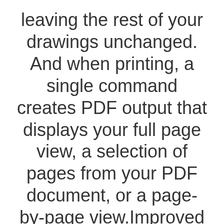leaving the rest of your drawings unchanged. And when printing, a single command creates PDF output that displays your full page view, a selection of pages from your PDF document, or a page-by-page view.Improved Drawing and InstancingFast, dynamic links support drawing and